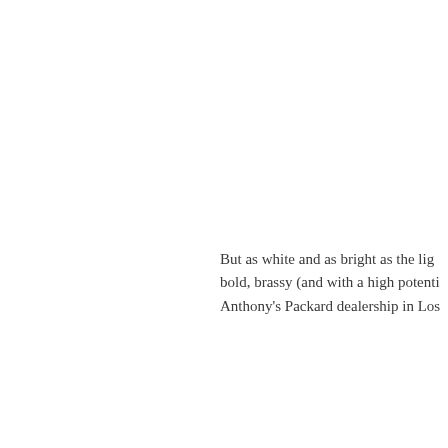But as white and as bright as the light, bold, brassy (and with a high potenti Anthony's Packard dealership in Los